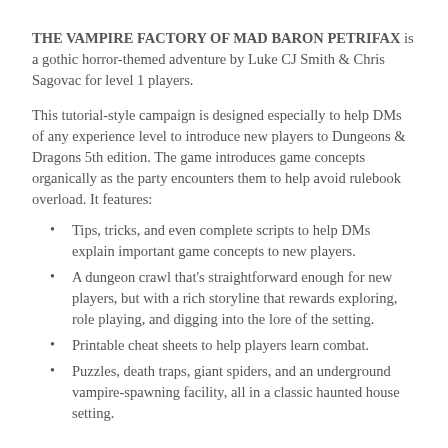THE VAMPIRE FACTORY OF MAD BARON PETRIFAX is a gothic horror-themed adventure by Luke CJ Smith & Chris Sagovac for level 1 players.
This tutorial-style campaign is designed especially to help DMs of any experience level to introduce new players to Dungeons & Dragons 5th edition. The game introduces game concepts organically as the party encounters them to help avoid rulebook overload. It features:
Tips, tricks, and even complete scripts to help DMs explain important game concepts to new players.
A dungeon crawl that's straightforward enough for new players, but with a rich storyline that rewards exploring, role playing, and digging into the lore of the setting.
Printable cheat sheets to help players learn combat.
Puzzles, death traps, giant spiders, and an underground vampire-spawning facility, all in a classic haunted house setting.
Related products